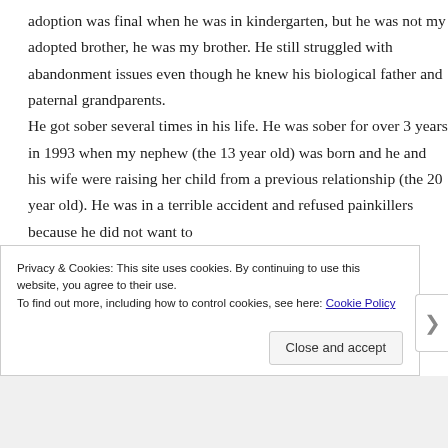adoption was final when he was in kindergarten, but he was not my adopted brother, he was my brother. He still struggled with abandonment issues even though he knew his biological father and paternal grandparents. He got sober several times in his life. He was sober for over 3 years in 1993 when my nephew (the 13 year old) was born and he and his wife were raising her child from a previous relationship (the 20 year old). He was in a terrible accident and refused painkillers because he did not want to
Privacy & Cookies: This site uses cookies. By continuing to use this website, you agree to their use.
To find out more, including how to control cookies, see here: Cookie Policy
Close and accept